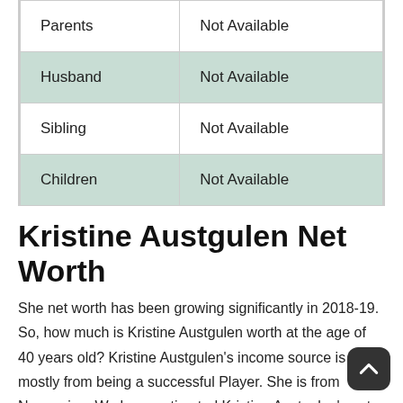|  |  |
| --- | --- |
| Parents | Not Available |
| Husband | Not Available |
| Sibling | Not Available |
| Children | Not Available |
Kristine Austgulen Net Worth
She net worth has been growing significantly in 2018-19. So, how much is Kristine Austgulen worth at the age of 40 years old? Kristine Austgulen's income source is mostly from being a successful Player. She is from Norwegian. We have estimated Kristine Austgulen's net worth, money,